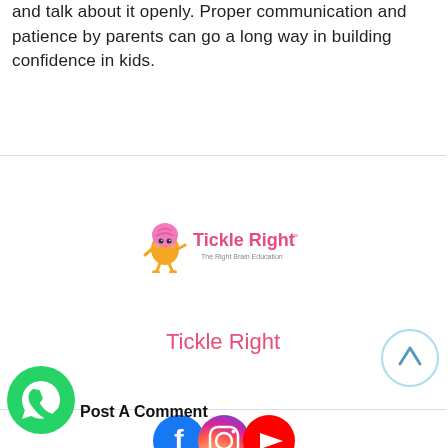and talk about it openly. Proper communication and patience by parents can go a long way in building confidence in kids.
[Figure (logo): Tickle Right logo with cartoon brain character and tagline]
Tickle Right
[Figure (infographic): Social media icons: Facebook, Instagram, YouTube]
[Figure (other): Scroll to top button - circle with up arrow]
[Figure (other): WhatsApp contact button (green circle with phone icon)]
Post A Comment